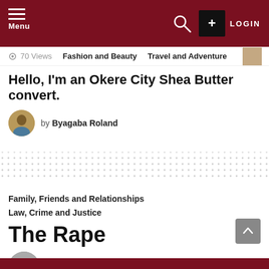Menu | LOGIN
70 Views   Fashion and Beauty   Travel and Adventure
Hello, I'm an Okere City Shea Butter convert.
by Byagaba Roland
[Figure (other): Dotted pattern divider]
Family, Friends and Relationships
Law, Crime and Justice
The Rape
by David Jack Tumusiime · 7 months ago